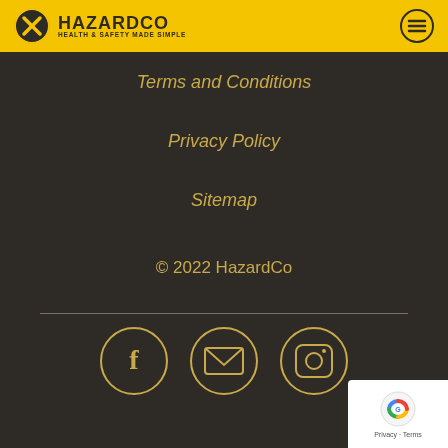[Figure (logo): HazardCo logo with yellow hazard symbol and text 'HazardCo Health & Safety Made Simple' on yellow header bar]
Terms and Conditions
Privacy Policy
Sitemap
© 2022 HazardCo
[Figure (illustration): Three social media icons in yellow circles: Facebook (f), Email (envelope), Instagram (camera)]
[Figure (other): reCAPTCHA badge with Google logo, Privacy and Terms links]